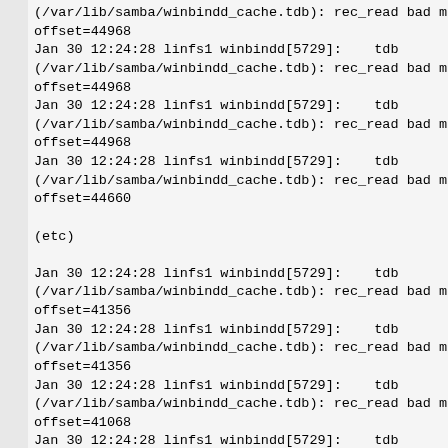(/var/lib/samba/winbindd_cache.tdb): rec_read bad ma
offset=44968
Jan 30 12:24:28 linfs1 winbindd[5729]:    tdb
(/var/lib/samba/winbindd_cache.tdb): rec_read bad ma
offset=44968
Jan 30 12:24:28 linfs1 winbindd[5729]:    tdb
(/var/lib/samba/winbindd_cache.tdb): rec_read bad ma
offset=44968
Jan 30 12:24:28 linfs1 winbindd[5729]:    tdb
(/var/lib/samba/winbindd_cache.tdb): rec_read bad ma
offset=44660

(etc)

Jan 30 12:24:28 linfs1 winbindd[5729]:    tdb
(/var/lib/samba/winbindd_cache.tdb): rec_read bad ma
offset=41356
Jan 30 12:24:28 linfs1 winbindd[5729]:    tdb
(/var/lib/samba/winbindd_cache.tdb): rec_read bad ma
offset=41356
Jan 30 12:24:28 linfs1 winbindd[5729]:    tdb
(/var/lib/samba/winbindd_cache.tdb): rec_read bad ma
offset=41068
Jan 30 12:24:28 linfs1 winbindd[5729]:    tdb
(/var/lib/samba/winbindd_cache.tdb): rec_read bad ma
offset=41068
Jan 30 12:24:28 linfs1 winbindd[5729]:    tdb
(/var/lib/samba/winbindd_cache.tdb): rec_read bad ma
offset=44592
Jan 30 12:24:28 linfs1 winbindd[5729]:    tdb